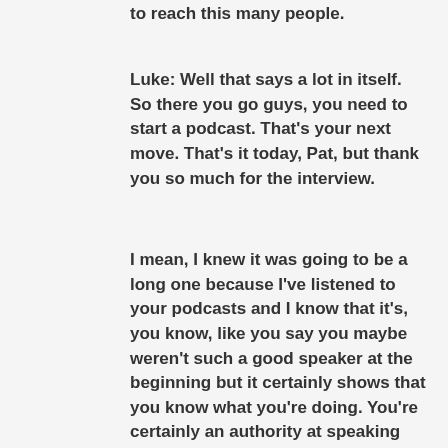to reach this many people.
Luke: Well that says a lot in itself. So there you go guys, you need to start a podcast. That's your next move. That's it today, Pat, but thank you so much for the interview.
I mean, I knew it was going to be a long one because I've listened to your podcasts and I know that it's, you know, like you say you maybe weren't such a good speaker at the beginning but it certainly shows that you know what you're doing. You're certainly an authority at speaking anyway now, I think.